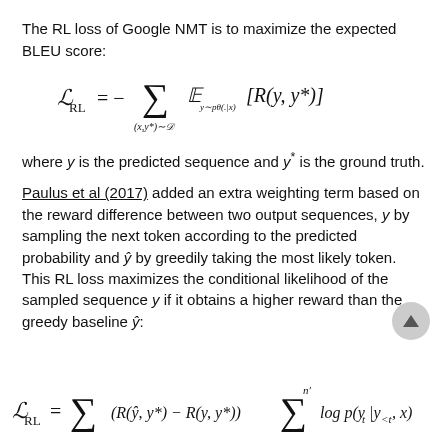The RL loss of Google NMT is to maximize the expected BLEU score:
where y is the predicted sequence and y* is the ground truth.
Paulus et al (2017) added an extra weighting term based on the reward difference between two output sequences, y by sampling the next token according to the predicted probability and ŷ by greedily taking the most likely token. This RL loss maximizes the conditional likelihood of the sampled sequence y if it obtains a higher reward than the greedy baseline ŷ: